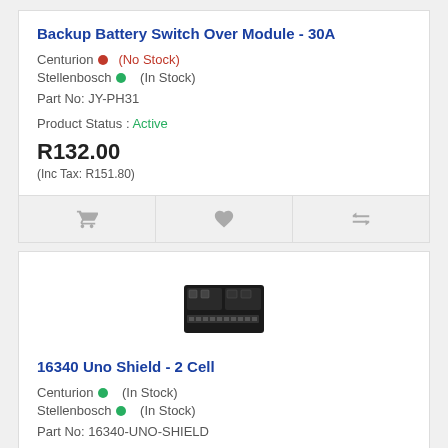Backup Battery Switch Over Module - 30A
Centurion  (No Stock)
Stellenbosch  (In Stock)
Part No: JY-PH31
Product Status : Active
R132.00
(Inc Tax: R151.80)
[Figure (other): Circuit board image for 16340 Uno Shield - 2 Cell]
16340 Uno Shield - 2 Cell
Centurion  (In Stock)
Stellenbosch  (In Stock)
Part No: 16340-UNO-SHIELD
Product Status : Active